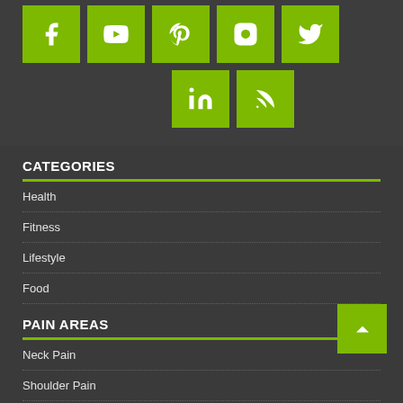[Figure (infographic): Social media icons grid: Facebook, YouTube, Pinterest, Instagram, Twitter (top row), LinkedIn, RSS (bottom row centered), all on green square backgrounds]
CATEGORIES
Health
Fitness
Lifestyle
Food
PAIN AREAS
Neck Pain
Shoulder Pain